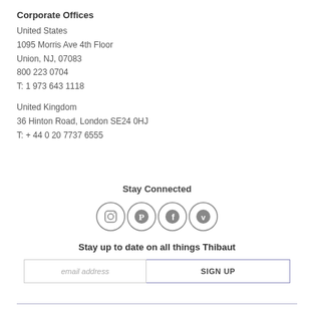Corporate Offices
United States
1095 Morris Ave 4th Floor
Union, NJ, 07083
800 223 0704
T: 1 973 643 1118
United Kingdom
36 Hinton Road, London SE24 0HJ
T: + 44 0 20 7737 6555
Stay Connected
[Figure (infographic): Four circular social media icons: Instagram, Pinterest, Facebook, Vimeo]
Stay up to date on all things Thibaut
email address  SIGN UP